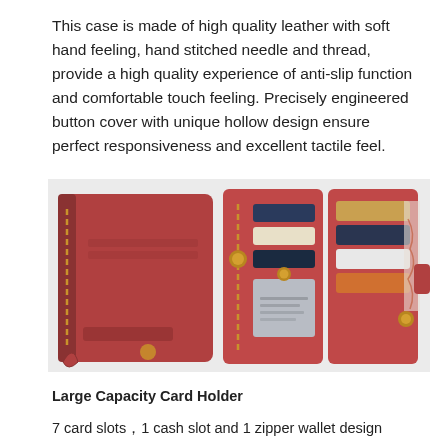This case is made of high quality leather with soft hand feeling, hand stitched needle and thread, provide a high quality experience of anti-slip function and comfortable touch feeling. Precisely engineered button cover with unique hollow design ensure perfect responsiveness and excellent tactile feel.
[Figure (photo): Product photo showing a red leather wallet phone case open to reveal card slots, zipper compartment, cash slot, and phone holder, displayed from multiple angles.]
Large Capacity Card Holder
7 card slots，1 cash slot and 1 zipper wallet design